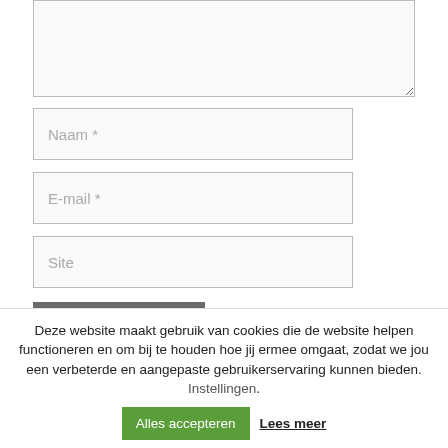Naam *
E-mail *
Site
Reactie plaatsen
Deze website maakt gebruik van cookies die de website helpen functioneren en om bij te houden hoe jij ermee omgaat, zodat we jou een verbeterde en aangepaste gebruikerservaring kunnen bieden. Instellingen. Alles accepteren Lees meer